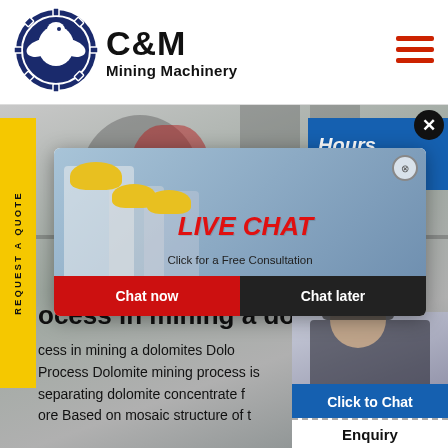[Figure (logo): C&M Mining Machinery logo with eagle inside gear circle, dark blue]
C&M Mining Machinery
[Figure (photo): Industrial mining machinery facility background photo, grey tones]
REQUEST A QUOTE
[Figure (infographic): Live Chat popup overlay with workers in hard hats, LIVE CHAT title in red italic, Click for a Free Consultation subtitle, Chat now (red) and Chat later (black) buttons, small close circle button]
[Figure (photo): Customer service agent woman with headset smiling]
Hours
line
Click to Chat
ocess in mining a dolo
cess in mining a dolomites Dolo
Process Dolomite mining process is separating dolomite concentrate f ore Based on mosaic structure of t
Enquiry